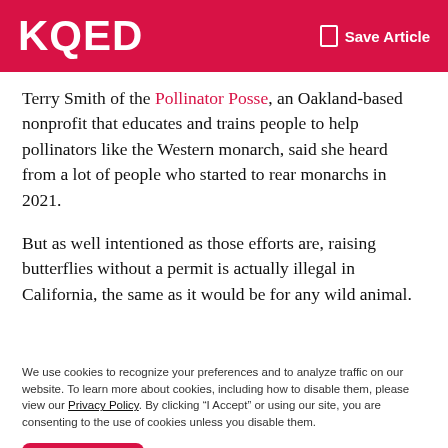KQED | Save Article
Terry Smith of the Pollinator Posse, an Oakland-based nonprofit that educates and trains people to help pollinators like the Western monarch, said she heard from a lot of people who started to rear monarchs in 2021.
But as well intentioned as those efforts are, raising butterflies without a permit is actually illegal in California, the same as it would be for any wild animal.
We use cookies to recognize your preferences and to analyze traffic on our website. To learn more about cookies, including how to disable them, please view our Privacy Policy. By clicking “I Accept” or using our site, you are consenting to the use of cookies unless you disable them.
I Accept